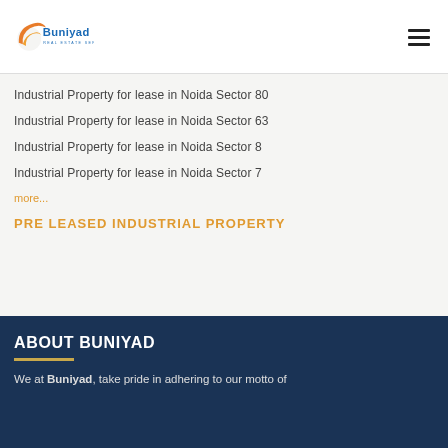Buniyad Real Estate Services
Industrial Property for lease in Noida Sector 80
Industrial Property for lease in Noida Sector 63
Industrial Property for lease in Noida Sector 8
Industrial Property for lease in Noida Sector 7
more...
PRE LEASED INDUSTRIAL PROPERTY
ABOUT BUNIYAD
We at Buniyad, take pride in adhering to our motto of